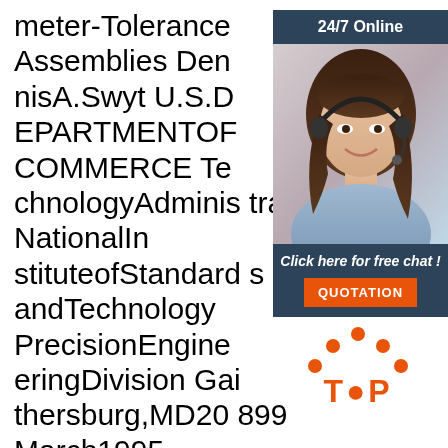meter-Tolerance Assemblies DennisA.Swyt U.S.DEPARTMENTOFCOMMERCE TechnologyAdministration NationalInstituteofStandards andTechnology PrecisionEngineeringDivision Gaithersburg,MD20899 March1995 U.S.DEPARTMENTOFCOMMERCE RonaldH.Brown Secretary TE
[Figure (illustration): Advertisement banner showing a woman with a headset smiling, with dark blue header saying '24/7 Online', text 'Click here for free chat!' and an orange QUOTATION button.]
[Figure (logo): Orange 'TOP' logo with orange dots arranged in an arc above the text, suggesting a scroll-to-top button.]